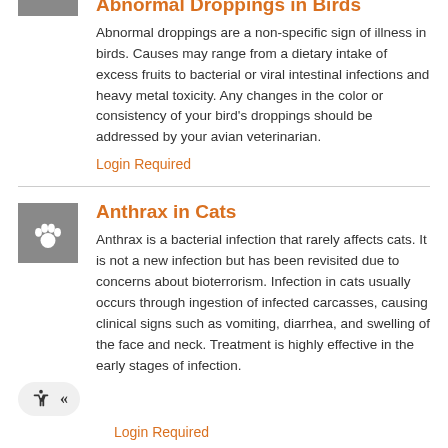Abnormal Droppings in Birds
Abnormal droppings are a non-specific sign of illness in birds. Causes may range from a dietary intake of excess fruits to bacterial or viral intestinal infections and heavy metal toxicity. Any changes in the color or consistency of your bird's droppings should be addressed by your avian veterinarian.
Login Required
Anthrax in Cats
Anthrax is a bacterial infection that rarely affects cats. It is not a new infection but has been revisited due to concerns about bioterrorism. Infection in cats usually occurs through ingestion of infected carcasses, causing clinical signs such as vomiting, diarrhea, and swelling of the face and neck. Treatment is highly effective in the early stages of infection.
Login Required